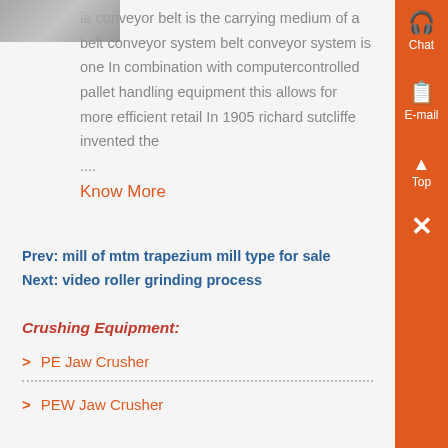[Figure (photo): Partial image of a conveyor belt system at the top left]
ia conveyor belt is the carrying medium of a belt conveyor system belt conveyor system is one In combination with computercontrolled pallet handling equipment this allows for more efficient retail In 1905 richard sutcliffe invented the
....
Know More
Prev: mill of mtm trapezium mill type for sale
Next: video roller grinding process
Crushing Equipment:
PE Jaw Crusher
PEW Jaw Crusher